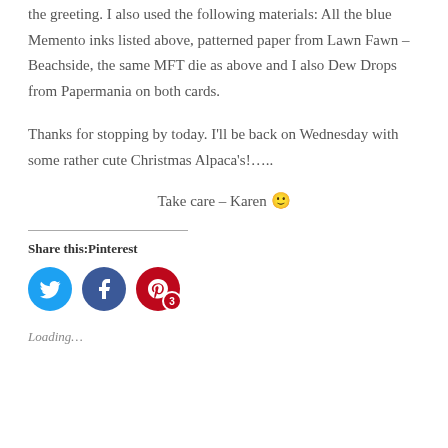the greeting. I also used the following materials: All the blue Memento inks listed above, patterned paper from Lawn Fawn – Beachside, the same MFT die as above and I also Dew Drops from Papermania on both cards.
Thanks for stopping by today. I'll be back on Wednesday with some rather cute Christmas Alpaca's!…..
Take care – Karen 🙂
Share this:Pinterest
[Figure (infographic): Social media share buttons: Twitter (blue circle), Facebook (dark blue circle), Pinterest (red circle with badge showing 3)]
Loading…